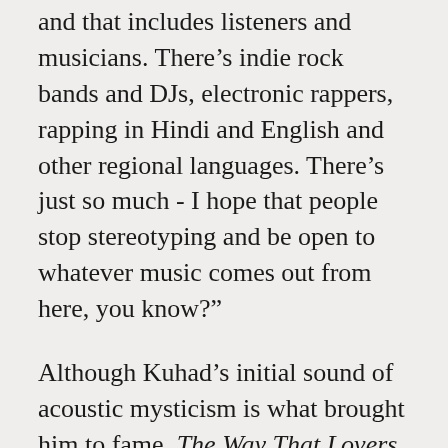and that includes listeners and musicians. There’s indie rock bands and DJs, electronic rappers, rapping in Hindi and English and other regional languages. There’s just so much - I hope that people stop stereotyping and be open to whatever music comes out from here, you know?”
Although Kuhad’s initial sound of acoustic mysticism is what brought him to fame, The Way That Lovers Do is a stylistic shift. Songs such as “Bloom” incorporate more of a soul influence with subtle hints of organ. “With this new album, I’ve tried to go beyond the folksy stuff and I’d say, you know, ‘Just A Word’ is almost R&B. ‘All I Need’ is quite